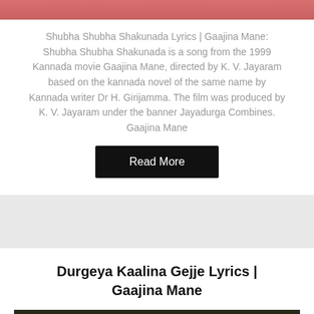[Figure (photo): Top portion of a movie/song related image, cropped at top]
Shubha Shubha Shakunada Lyrics | Gaajina Mane: Shubha Shubha Shakunada is a song from the 1999 Kannada movie Gaajina Mane, directed by K. V. Jayaram based on the kannada novel of the same name by Kannada writer Dr H. Girijamma. The film was produced by K. V. Jayaram under the banner Jayadurga Combines. Gaajina Mane
Read More
Durgeya Kaalina Gejje Lyrics | Gaajina Mane
[Figure (photo): Bottom portion showing a dark-haired figure against a green outdoor background]